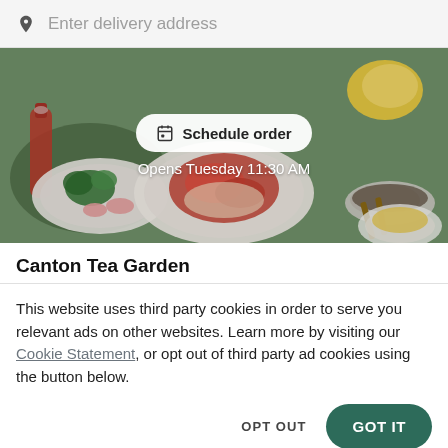Enter delivery address
[Figure (photo): Food delivery app hero image showing Asian dishes including crab, broccoli, noodles, chopsticks, and hot sauce — with 'Schedule order' button overlay and 'Opens Tuesday 11:30 AM' text]
Canton Tea Garden
This website uses third party cookies in order to serve you relevant ads on other websites. Learn more by visiting our Cookie Statement, or opt out of third party ad cookies using the button below.
OPT OUT   GOT IT